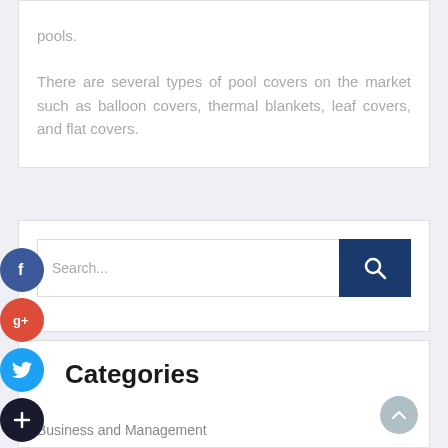pools.

There are several types of pool covers on the market such as balloon covers, thermal blankets, leaf covers, and flat covers.
[Figure (other): Search bar with blue search button and social media icons (Facebook, Google+, Twitter, plus button) on the left side]
Categories
Business and Management